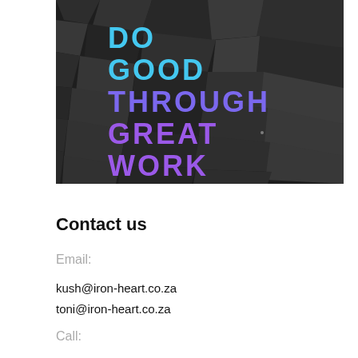[Figure (photo): Dark moody photo of dark grey stones/rocks filling the frame, with bold overlaid text reading 'DO GOOD THROUGH GREAT WORK' in cyan and purple gradient colors]
Contact us
Email:
kush@iron-heart.co.za
toni@iron-heart.co.za
Call: